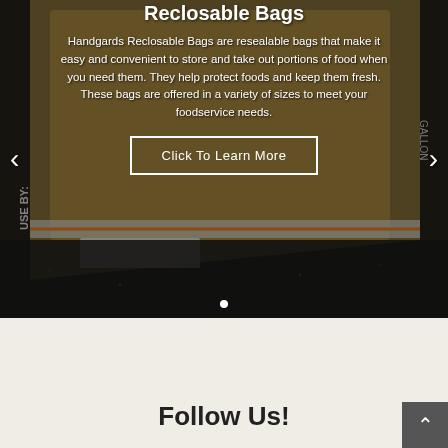[Figure (photo): Background photo of a reclosable plastic bag containing rigatoni pasta, placed on a dark granite countertop. The bag has an orange zipper seal and 'USE BY:' printed on it.]
Reclosable Bags
Handgards Reclosable Bags are resealable bags that make it easy and convenient to store and take out portions of food when you need them. They help protect foods and keep them fresh. These bags are offered in a variety of sizes to meet your foodservice needs.
Click To Learn More
Follow Us!